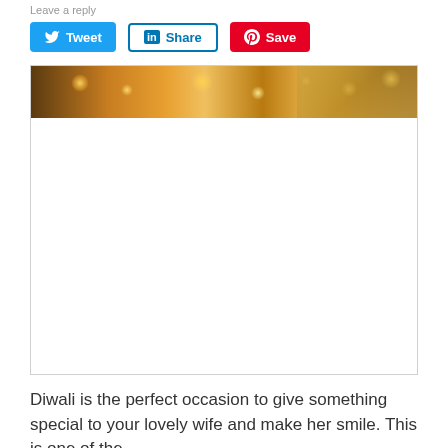Leave a reply
[Figure (infographic): Social sharing buttons row: Tweet (Twitter/blue), Share (LinkedIn/blue outline), Save (Pinterest/red)]
[Figure (photo): Image showing a warm bokeh background with golden lights and chandelier, mostly white body (partially loaded image)]
Diwali is the perfect occasion to give something special to your lovely wife and make her smile. This is one of the